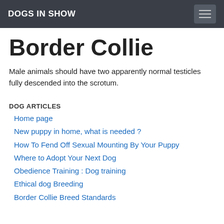DOGS IN SHOW
Border Collie
Male animals should have two apparently normal testicles fully descended into the scrotum.
DOG ARTICLES
Home page
New puppy in home, what is needed ?
How To Fend Off Sexual Mounting By Your Puppy
Where to Adopt Your Next Dog
Obedience Training : Dog training
Ethical dog Breeding
Border Collie Breed Standards